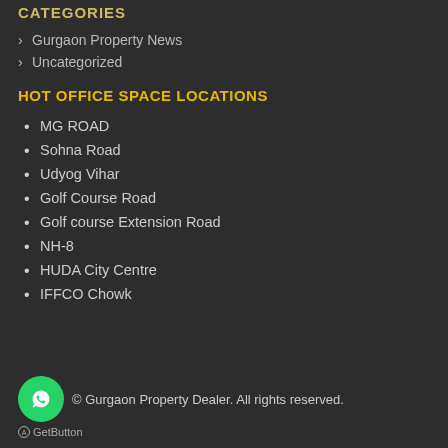CATEGORIES
Gurgaon Property News
Uncategorized
HOT OFFICE SPACE LOCATIONS
MG ROAD
Sohna Road
Udyog Vihar
Golf Course Road
Golf course Extension Road
NH-8
HUDA City Centre
IFFCO Chowk
© Gurgaon Property Dealer. All rights reserved.